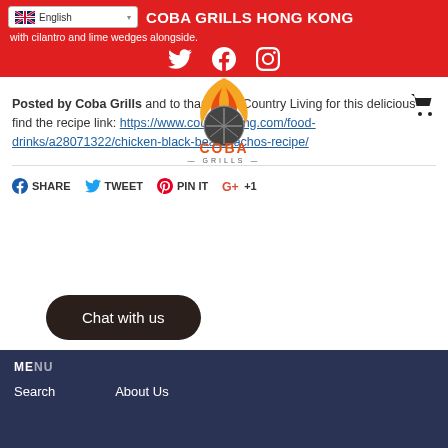COBA GRILLS HONG KONG
with cilantro and lime wedges alongside.
Posted by Coba Grills and to thank The Country Living for this delicious find the recipe link: https://www.countryliving.com/food-drinks/a28071322/chicken-black-bean-nachos-recipe/
[Figure (logo): Coba Grills logo with flame and grill design]
SHARE   TWEET   PIN IT   +1